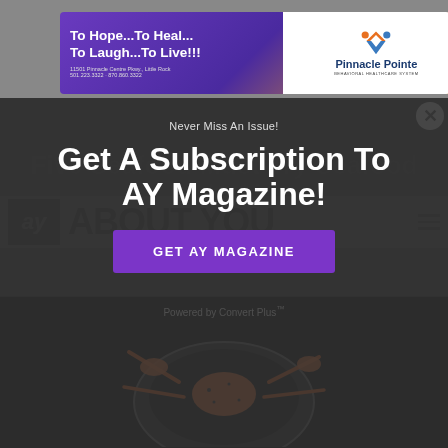[Figure (illustration): Pinnacle Pointe Behavioral Healthcare System banner advertisement with purple and gold gradient background, tagline 'To Hope...To Heal...To Laugh...To Live!!!' and Pinnacle Pointe logo on white right panel.]
[Figure (logo): AY About You Magazine header logo with black box 'ay' initials and large 'ABOUT YOU' text, with hamburger menu icon on right.]
Never Miss An Issue!
Get A Subscription To AY Magazine!
GET AY MAGAZINE
Powered by Convert Plus™
[Figure (photo): Dark background seafood/crab image, partially visible at bottom of page.]